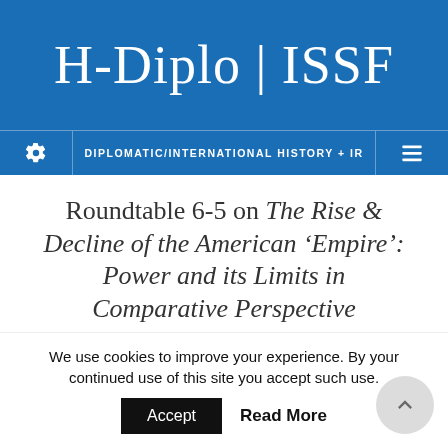H-Diplo | ISSF
DIPLOMATIC/INTERNATIONAL HISTORY + IR
Roundtable 6-5 on The Rise & Decline of the American 'Empire': Power and its Limits in Comparative Perspective
77 min read
JANUARY 6, 2014 BY H-DIPLO
Contents [hide]
We use cookies to improve your experience. By your continued use of this site you accept such use.
Accept   Read More